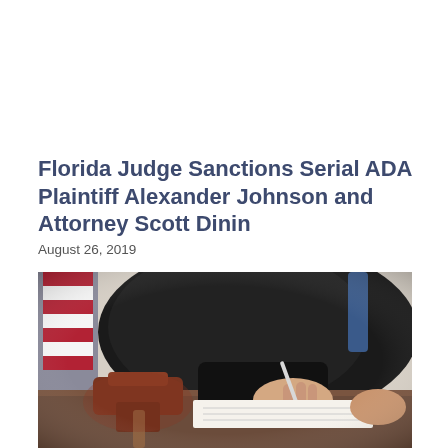Florida Judge Sanctions Serial ADA Plaintiff Alexander Johnson and Attorney Scott Dinin
August 26, 2019
[Figure (photo): A judge in black robes writing on paper with a pen, with a wooden gavel in the foreground and an American flag visible in the background.]